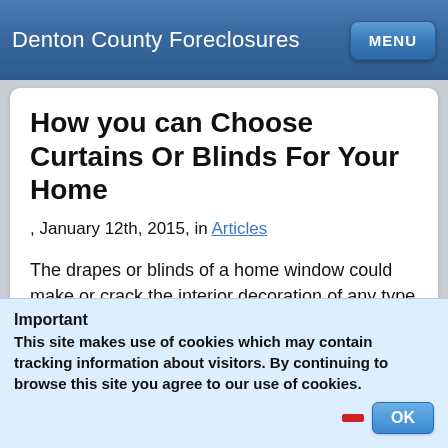Denton County Foreclosures
How you can Choose Curtains Or Blinds For Your Home
, January 12th, 2015, in Articles
The drapes or blinds of a home window could make or crack the interior decoration of any type of location, whether a residence, a workplace and even a dining establishment. Blinds and also drapes could make houses look innovative and also really feel
Important
This site makes use of cookies which may contain tracking information about visitors. By continuing to browse this site you agree to our use of cookies.